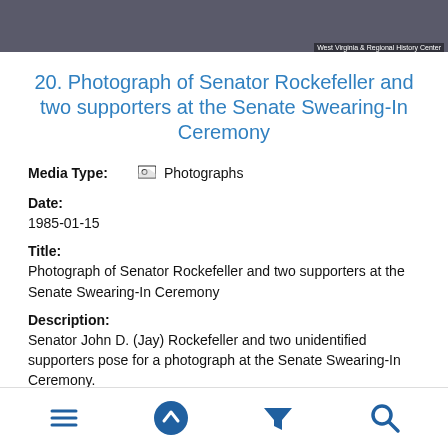[Figure (photo): Partial photo strip of Senator Rockefeller with two supporters at Senate Swearing-In Ceremony, with 'West Virginia & Regional History Center' watermark.]
20. Photograph of Senator Rockefeller and two supporters at the Senate Swearing-In Ceremony
Media Type: Photographs
Date:
1985-01-15
Title:
Photograph of Senator Rockefeller and two supporters at the Senate Swearing-In Ceremony
Description:
Senator John D. (Jay) Rockefeller and two unidentified supporters pose for a photograph at the Senate Swearing-In Ceremony.
[Figure (screenshot): Mobile app bottom navigation bar with menu, up-arrow, filter, and search icons in blue.]